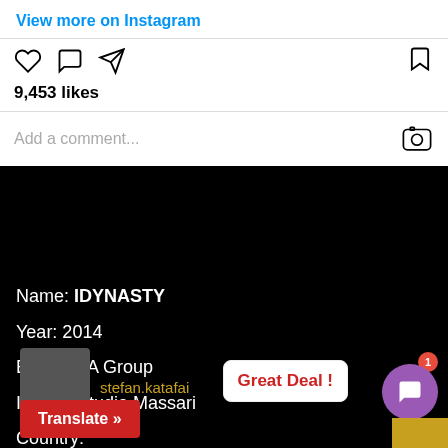View more on Instagram
9,453 likes
Add a comment...
Name: IDYNASTY
Year: 2014
Exterior: A Group
Interior Studio Massari
Country:
Top speed: 14
Cruise speed:
Listing ID: 1884
Great Deal !
stefan.katafai
Translate »